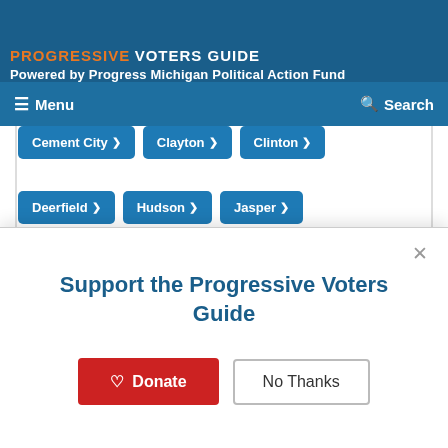PROGRESSIVE VOTERS GUIDE
Powered by Progress Michigan Political Action Fund
Cement City
Clayton
Clinton
Deerfield
Hudson
Jasper
Manitou Beach
Morenci
Onsted
Palmyra
Riga
Sand Creek
Tecumseh
Tipton
Support the Progressive Voters Guide
Donate | No Thanks